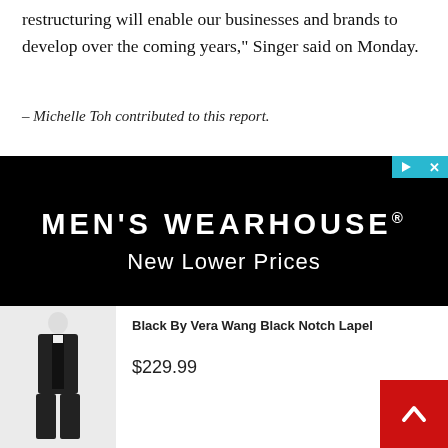restructuring will enable our businesses and brands to develop over the coming years,” Singer said on Monday.
– Michelle Toh contributed to this report.
[Figure (illustration): Men's Wearhouse advertisement banner with black background. Large white text reads MEN'S WEARHOUSE® and below it New Lower Prices. Small teal play and close buttons in top right corner.]
[Figure (photo): Man wearing a black tuxedo with bow tie, full body shot on white background.]
Black By Vera Wang Black Notch Lapel
$229.99
[Figure (photo): Boy or young man wearing a black suit with tie, full body shot on white background.]
Joseph & Feiss Boy’s Black Suit
$69.99